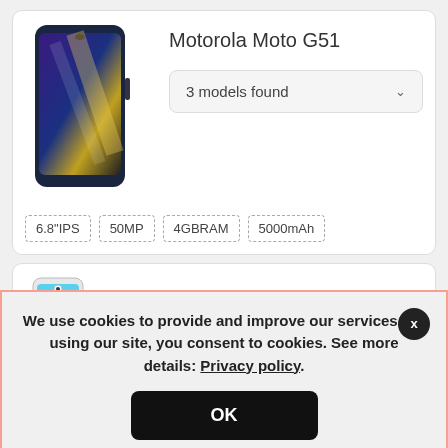[Figure (photo): Motorola Moto G51 smartphone product image showing a dark blue phone with a colorful screen]
Motorola Moto G51
3 models found
6.8"IPS
50MP
4GBRAM
5000mAh
[Figure (photo): Motorola Moto E30 smartphone product image, partially visible]
Motorola Moto E30
We use cookies to provide and improve our services. By using our site, you consent to cookies. See more details: Privacy policy.
OK